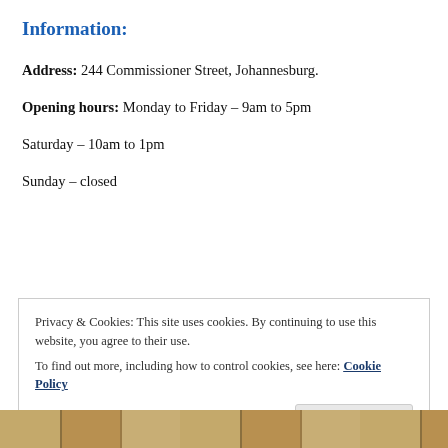Information:
Address: 244 Commissioner Street, Johannesburg.
Opening hours: Monday to Friday – 9am to 5pm
Saturday – 10am to 1pm
Sunday – closed
Privacy & Cookies: This site uses cookies. By continuing to use this website, you agree to their use.
To find out more, including how to control cookies, see here: Cookie Policy
[Figure (photo): Partial photo strip at bottom of page showing interior architectural detail]